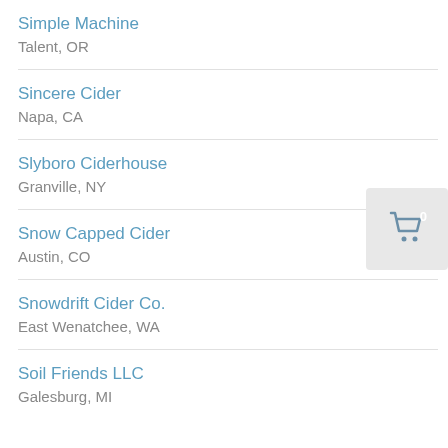Simple Machine
Talent, OR
Sincere Cider
Napa, CA
Slyboro Ciderhouse
Granville, NY
Snow Capped Cider
Austin, CO
Snowdrift Cider Co.
East Wenatchee, WA
Soil Friends LLC
Galesburg, MI